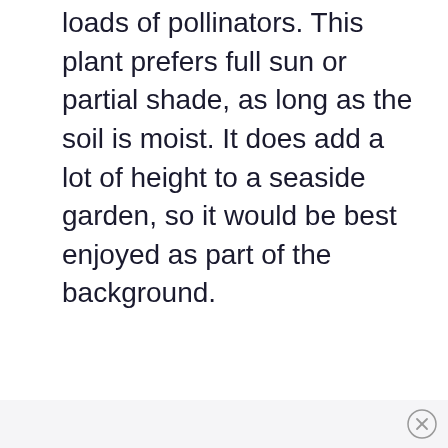loads of pollinators. This plant prefers full sun or partial shade, as long as the soil is moist. It does add a lot of height to a seaside garden, so it would be best enjoyed as part of the background.